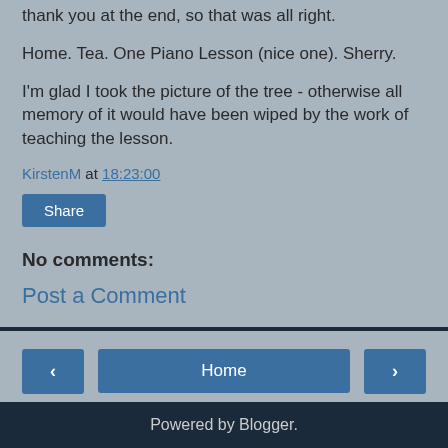thank you at the end, so that was all right.
Home. Tea. One Piano Lesson (nice one). Sherry.
I'm glad I took the picture of the tree - otherwise all memory of it would have been wiped by the work of teaching the lesson.
KirstenM at 18:23:00
Share
No comments:
Post a Comment
Powered by Blogger.